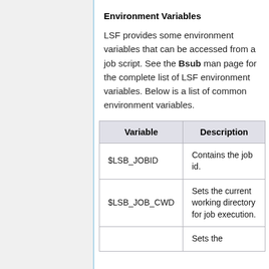Environment Variables
LSF provides some environment variables that can be accessed from a job script. See the Bsub man page for the complete list of LSF environment variables. Below is a list of common environment variables.
| Variable | Description |
| --- | --- |
| $LSB_JOBID | Contains the job id. |
| $LSB_JOB_CWD | Sets the current working directory for job execution. |
|  | Sets the |